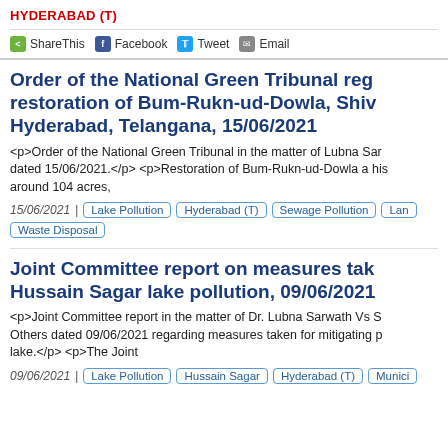HYDERABAD (T)
ShareThis  Facebook  Tweet  Email
Order of the National Green Tribunal regarding restoration of Bum-Rukn-ud-Dowla, Shiv..., Hyderabad, Telangana, 15/06/2021
<p>Order of the National Green Tribunal in the matter of Lubna Sarwath... dated 15/06/2021.</p> <p>Restoration of Bum-Rukn-ud-Dowla a his... around 104 acres,
15/06/2021 | Lake Pollution  Hyderabad (T)  Sewage Pollution  Lan...  Waste Disposal
Joint Committee report on measures taken... Hussain Sagar lake pollution, 09/06/2021
<p>Joint Committee report in the matter of Dr. Lubna Sarwath Vs S... Others dated 09/06/2021 regarding measures taken for mitigating p... lake.</p> <p>The Joint
09/06/2021 | Lake Pollution  Hussain Sagar  Hyderabad (T)  Munici...